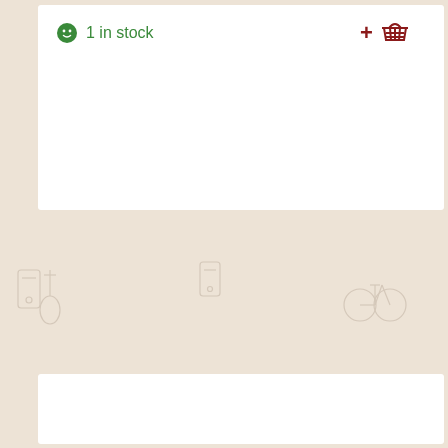1 in stock
[Figure (illustration): Shopping cart with plus icon in dark red]
[Figure (illustration): Background pattern with faint outline drawings of various items (phone, tools, bicycle, containers, etc.) on a warm beige background]